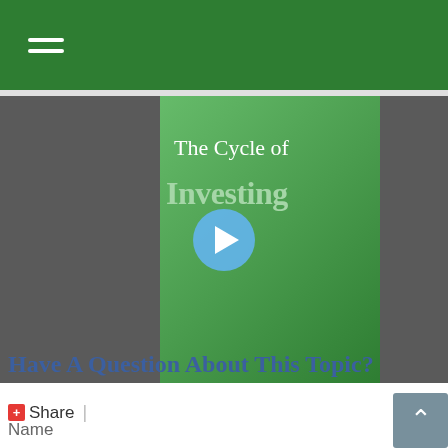Navigation menu
[Figure (screenshot): Video thumbnail showing 'The Cycle of Investing' with a play button overlay on a green gradient background, set against a dark gray sidebar]
+ Share |
Have A Question About This Topic?
Name